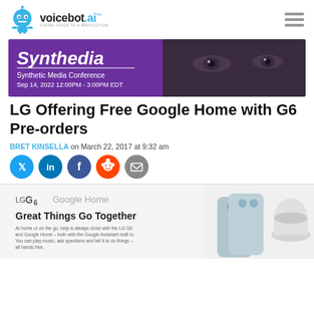voicebot.ai — GIVING VOICE TO A REVOLUTION
[Figure (illustration): Synthedia Synthetic Media Conference banner. Sep 14, 2022 12:00PM - 3:00PM EDT. Purple background with close-up of a woman's eyes on the right.]
LG Offering Free Google Home with G6 Pre-orders
BRET KINSELLA on March 22, 2017 at 9:32 am
[Figure (infographic): Social share icons: Twitter (blue), LinkedIn (blue), Facebook (dark blue), Reddit (orange), Email (grey)]
[Figure (photo): LG G6 + Google Home promotional image. Text reads 'LG G6 Google Home — Great Things Go Together'. Shows LG G6 smartphone and Google Home device. Tagline text: At home or on the go, help is always close with the LG G6 and Google Home – both with the Google Assistant built in. You can play music, ask questions and tell it to do things – all hands free.]